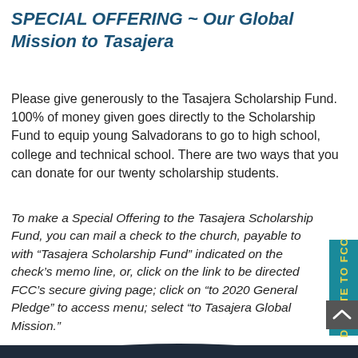SPECIAL OFFERING ~ Our Global Mission to Tasajera
Please give generously to the Tasajera Scholarship Fund. 100% of money given goes directly to the Scholarship Fund to equip young Salvadorans to go to high school, college and technical school. There are two ways that you can donate for our twenty scholarship students.
To make a Special Offering to the Tasajera Scholarship Fund, you can mail a check to the church, payable to with “Tasajera Scholarship Fund” indicated on the check’s memo line, or, click on the link to be directed FCC’s secure giving page; click on “to 2020 General Pledge” to access menu; select “to Tasajera Global Mission.”